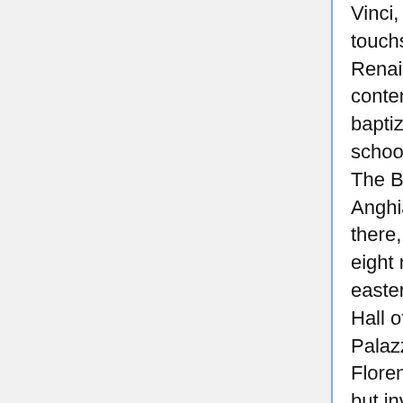Vinci, a philosophical touchstone of the Renaissance whose contemporaries baptized as "the school of the world", The Battle of Anghiari is perhaps there, in front of us, eight meters up the eastern wall of the Hall of the 500 in the Palazzo Vecchio in Florence. Present but invisible, a prisoner of the